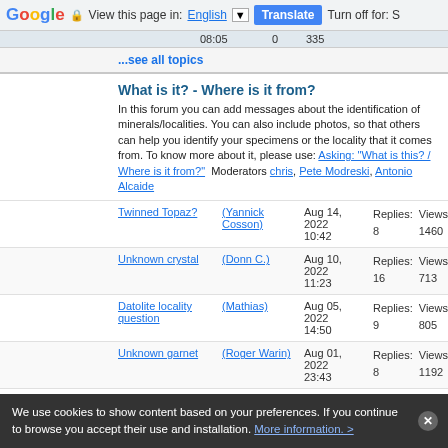Google | View this page in: English [▼] | Translate | Turn off for: S
08:05  0  535
...see all topics
What is it? - Where is it from?
In this forum you can add messages about the identification of minerals/localities. You can also include photos, so that others can help you identify your specimens or the locality that it comes from. To know more about it, please use: Asking: "What is this? / Where is it from?"  Moderators chris, Pete Modreski, Antonio Alcaide
Twinned Topaz? (Yannick Cosson) Aug 14, 2022 10:42 Replies: 8 Views: 1460
Unknown crystal (Donn C.) Aug 10, 2022 11:23 Replies: 16 Views: 713
Datolite locality question (Mathias) Aug 05, 2022 14:50 Replies: 9 Views: 805
Unknown garnet (Roger Warin) Aug 01, 2022 23:43 Replies: 8 Views: 1192
Question about Aquamarine (Roger Warin) Aug 01, 2022 23:37 Replies: 5 Views: 652
157
We use cookies to show content based on your preferences. If you continue to browse you accept their use and installation. More information. >